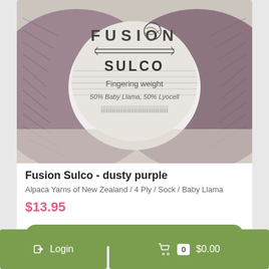[Figure (photo): Photo of Fusion Sulco dusty purple yarn skeins with a circular product label in the center reading FUSION SULCO Fingering weight 50% Baby Llama, 50% Lyocell]
Fusion Sulco - dusty purple
Alpaca Yarns of New Zealand / 4 Ply / Sock / Baby Llama
$13.95
Login
0 $0.00